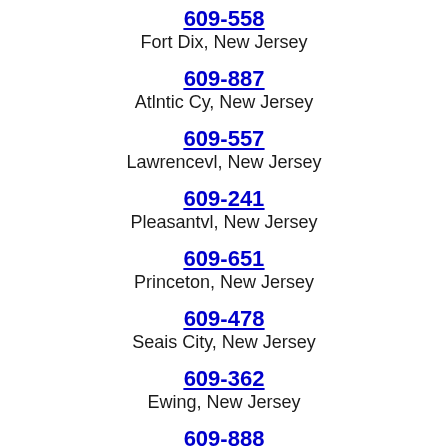609-558
Fort Dix, New Jersey
609-887
Atlntic Cy, New Jersey
609-557
Lawrencevl, New Jersey
609-241
Pleasantvl, New Jersey
609-651
Princeton, New Jersey
609-478
Seais City, New Jersey
609-362
Ewing, New Jersey
609-888
Trenton, New Jersey
609-360
Florence, New Jersey